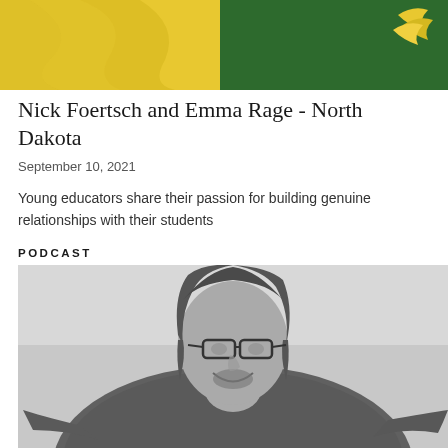[Figure (photo): Header banner with yellow and green background, featuring a wing/bird logo in the top right corner]
Nick Foertsch and Emma Rage - North Dakota
September 10, 2021
Young educators share their passion for building genuine relationships with their students
PODCAST
[Figure (photo): Black and white photograph of a smiling man with shoulder-length hair wearing glasses and a button-up shirt, arms outstretched]